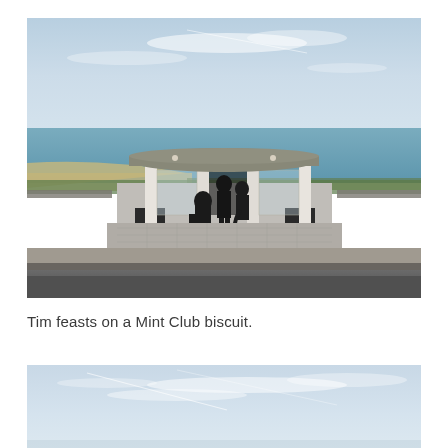[Figure (photo): A coastal bus shelter with a rounded concrete roof supported by columns with glass panels. Three silhouetted people stand inside. Beach and sea visible in background, road in foreground.]
Tim feasts on a Mint Club biscuit.
[Figure (photo): Partial view of a pale blue sky with wispy clouds, appears to be the top portion of a second photograph.]